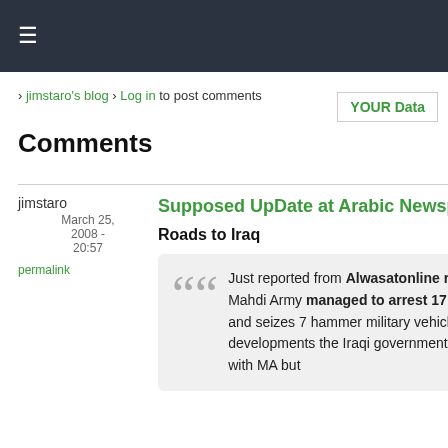≡
> jimstaro's blog > Log in to post comments
YOUR Data
Comments
jimstaro
March 25, 2008 - 20:57
permalink
Supposed UpDate at Arabic Newspaper
Roads to Iraq
Just reported from Alwasatonline reporter in Basra, Mahdi Army managed to arrest 17 American soldiers, and seizes 7 hammer military vehicles, because of these developments the Iraqi government offered to negotiates with MA but